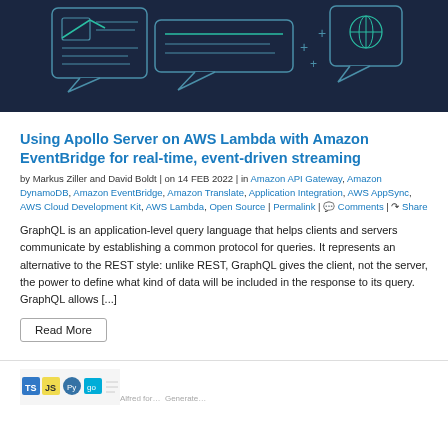[Figure (illustration): Dark blue banner image with chat/document icons and decorative plus signs, representing cloud/API communication theme]
Using Apollo Server on AWS Lambda with Amazon EventBridge for real-time, event-driven streaming
by Markus Ziller and David Boldt | on 14 FEB 2022 | in Amazon API Gateway, Amazon DynamoDB, Amazon EventBridge, Amazon Translate, Application Integration, AWS AppSync, AWS Cloud Development Kit, AWS Lambda, Open Source | Permalink | Comments | Share
GraphQL is an application-level query language that helps clients and servers communicate by establishing a common protocol for queries. It represents an alternative to the REST style: unlike REST, GraphQL gives the client, not the server, the power to define what kind of data will be included in the response to its query. GraphQL allows [...]
Read More
[Figure (screenshot): Partial preview of next article thumbnail showing logos including TypeScript, JavaScript, Python, Go languages]